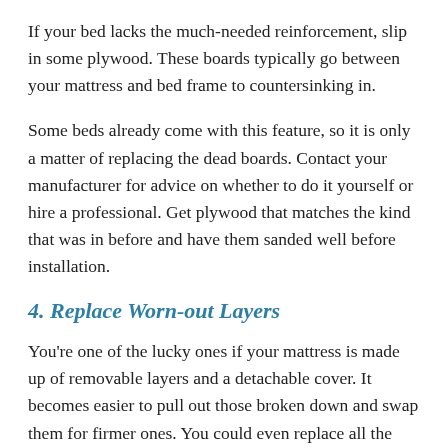If your bed lacks the much-needed reinforcement, slip in some plywood. These boards typically go between your mattress and bed frame to countersinking in.
Some beds already come with this feature, so it is only a matter of replacing the dead boards. Contact your manufacturer for advice on whether to do it yourself or hire a professional. Get plywood that matches the kind that was in before and have them sanded well before installation.
4. Replace Worn-out Layers
You're one of the lucky ones if your mattress is made up of removable layers and a detachable cover. It becomes easier to pull out those broken down and swap them for firmer ones. You could even replace all the layers if you wish. However, do not attempt if your mattress does not accommodate this, or else you